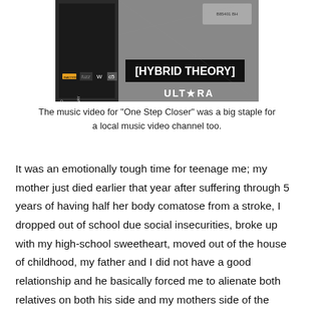[Figure (photo): Photo of a VHS cassette tape for Linkin Park's Hybrid Theory album, showing the tape spine and label with track listings including 'By Myself', 'For My Head', 'Forgotten', 'In The End', 'Bring Me Away', and the [HYBRID THEORY] branding with Warner Bros and Ultra logos.]
The music video for "One Step Closer" was a big staple for a local music video channel too.
It was an emotionally tough time for teenage me; my mother just died earlier that year after suffering through 5 years of having half her body comatose from a stroke, I dropped out of school due social insecurities, broke up with my high-school sweetheart, moved out of the house of childhood, my father and I did not have a good relationship and he basically forced me to alienate both relatives on both his side and my mothers side of the family, and was not sure of my place in this world. I rarely slept at home, or slept at all and spent my days hanging out in the seedy parts of downtown Cebu, sleeping at the cement sidewalks not because I did not have a bed to go house to go to, but because my house